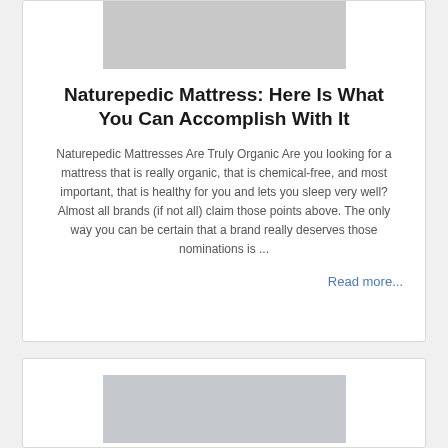[Figure (photo): Photo of a bed with white bedding and a grey throw blanket, appearing to be a mattress product image.]
Naturepedic Mattress: Here Is What You Can Accomplish With It
Naturepedic Mattresses Are Truly Organic Are you looking for a mattress that is really organic, that is chemical-free, and most important, that is healthy for you and lets you sleep very well? Almost all brands (if not all) claim those points above. The only way you can be certain that a brand really deserves those nominations is ...
Read more...
[Figure (photo): Photo of a bed with white pillows against a light background, appearing to be a mattress product image.]